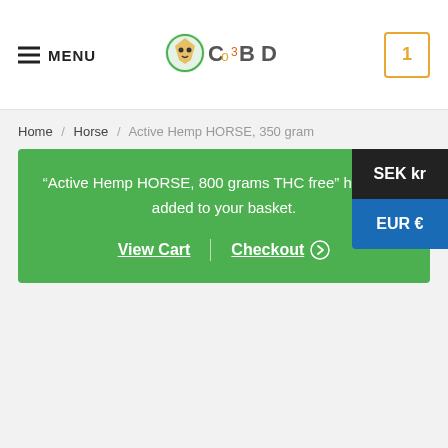MENU | CopD logo | 1 (cart)
Home / Horse / Active Hemp HORSE, 350 gram
“Active Hemp HORSE, 800 grams THC free” has been added to your basket.
View Cart | Checkout
SEK kr
EUR €